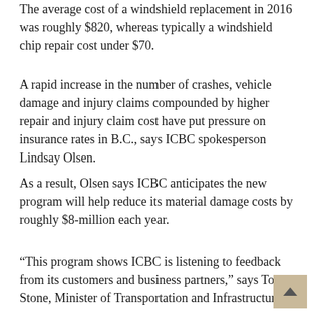The average cost of a windshield replacement in 2016 was roughly $820, whereas typically a windshield chip repair cost under $70.
A rapid increase in the number of crashes, vehicle damage and injury claims compounded by higher repair and injury claim cost have put pressure on insurance rates in B.C., says ICBC spokesperson Lindsay Olsen.
As a result, Olsen says ICBC anticipates the new program will help reduce its material damage costs by roughly $8-million each year.
“This program shows ICBC is listening to feedback from its customers and business partners,” says Todd Stone, Minister of Transportation and Infrastructure.